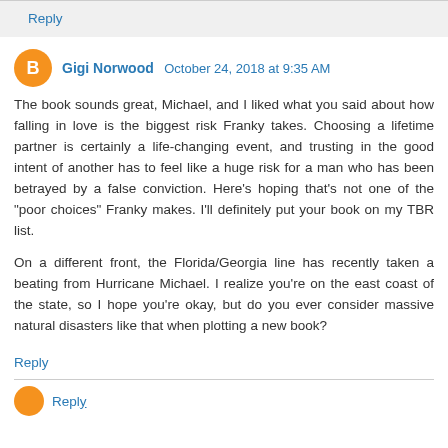Reply
Gigi Norwood  October 24, 2018 at 9:35 AM
The book sounds great, Michael, and I liked what you said about how falling in love is the biggest risk Franky takes. Choosing a lifetime partner is certainly a life-changing event, and trusting in the good intent of another has to feel like a huge risk for a man who has been betrayed by a false conviction. Here's hoping that's not one of the "poor choices" Franky makes. I'll definitely put your book on my TBR list.

On a different front, the Florida/Georgia line has recently taken a beating from Hurricane Michael. I realize you're on the east coast of the state, so I hope you're okay, but do you ever consider massive natural disasters like that when plotting a new book?
Reply